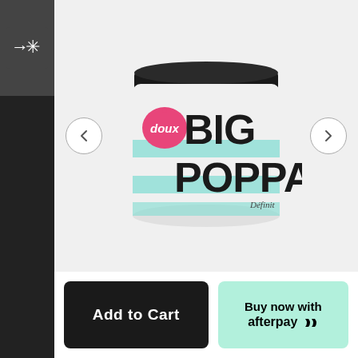[Figure (photo): Screenshot of an e-commerce product page showing a white jar with black lid labeled 'Doux BIG POPPA' with mint green stripe design, navigation arrows on left and right, Add to Cart button and Buy now with afterpay button at the bottom.]
Add to Cart
Buy now with afterpay